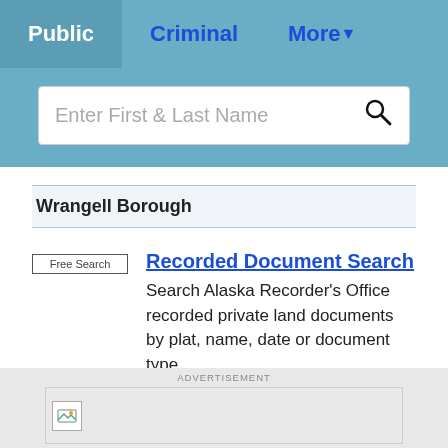Public  Criminal  More
Enter First & Last Name
Wrangell Borough
Free Search
Recorded Document Search
Search Alaska Recorder's Office recorded private land documents by plat, name, date or document type.
Recorder of Deeds
ADVERTISEMENT